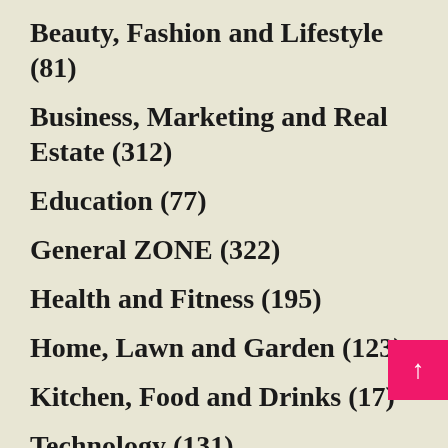Beauty, Fashion and Lifestyle (81)
Business, Marketing and Real Estate (312)
Education (77)
General ZONE (322)
Health and Fitness (195)
Home, Lawn and Garden (123)
Kitchen, Food and Drinks (17)
Technology (131)